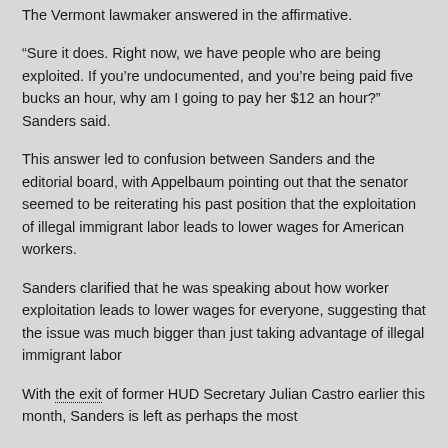The Vermont lawmaker answered in the affirmative.
“Sure it does. Right now, we have people who are being exploited. If you’re undocumented, and you’re being paid five bucks an hour, why am I going to pay her $12 an hour?” Sanders said.
This answer led to confusion between Sanders and the editorial board, with Appelbaum pointing out that the senator seemed to be reiterating his past position that the exploitation of illegal immigrant labor leads to lower wages for American workers.
Sanders clarified that he was speaking about how worker exploitation leads to lower wages for everyone, suggesting that the issue was much bigger than just taking advantage of illegal immigrant labor
With the exit of former HUD Secretary Julian Castro earlier this month, Sanders is left as perhaps the most